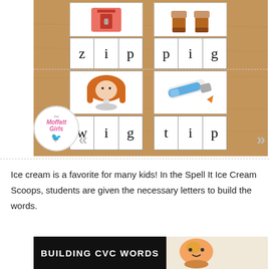[Figure (photo): Photo of CVC word spelling cards on a wooden table showing: zip, pig, wig, tip with letter boxes and picture clues. Moffatt Girls logo visible in lower left of image.]
Ice cream is a favorite for many kids! In the Spell It Ice Cream Scoops, students are given the necessary letters to build the words.
[Figure (photo): Bottom banner showing 'BUILDING CVC WORDS' text on black background with a cartoon character on the right side.]